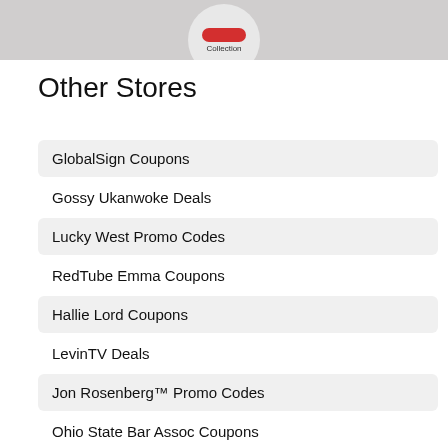[Figure (photo): Partial product photo showing a circular logo/badge with a red element and the word 'Collection' on a grey background]
Other Stores
GlobalSign Coupons
Gossy Ukanwoke Deals
Lucky West Promo Codes
RedTube Emma Coupons
Hallie Lord Coupons
LevinTV Deals
Jon Rosenberg™ Promo Codes
Ohio State Bar Assoc Coupons
Lomography Coupons